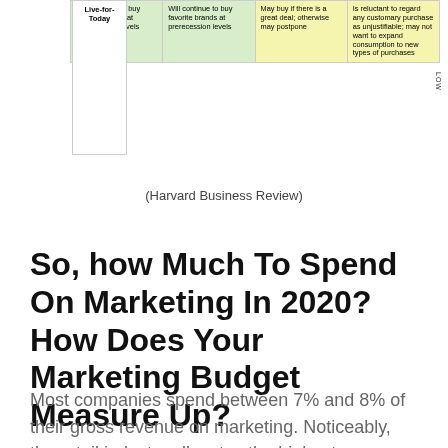[Figure (table-as-image): Partial table fragment showing consumer segment 'Live-for-Today' row with colored cells describing purchasing behaviors across columns. Green cells indicate continued purchasing; yellow cells indicate cautious or reluctant behavior. A 'LOW' label appears on the right side.]
(Harvard Business Review)
So, how Much To Spend On Marketing In 2020? How Does Your Marketing Budget Measure Up?
Most companies spend between 7% and 8% of their gross revenue on marketing. Noticeably, the retail industry allocates the highest percentage of total spending on advertising